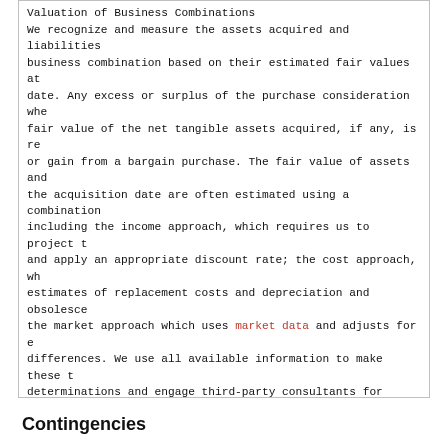Valuation of Business Combinations
We recognize and measure the assets acquired and liabilities business combination based on their estimated fair values at date. Any excess or surplus of the purchase consideration whe fair value of the net tangible assets acquired, if any, is re or gain from a bargain purchase. The fair value of assets and the acquisition date are often estimated using a combination including the income approach, which requires us to project t and apply an appropriate discount rate; the cost approach, wh estimates of replacement costs and depreciation and obsolesce the market approach which uses market data and adjusts for e differences. We use all available information to make these t determinations and engage third-party consultants for valuat: estimates used in determining fair values are based on assump be reasonable but which are inherently uncertain. Accordingly may differ materially from the projected results used to dete
Contingencies
We are subject to proceedings, lawsuits and other claims rele environmental, labor, product and other matters. We are req likelihood of any adverse judgments or outcomes to these matt